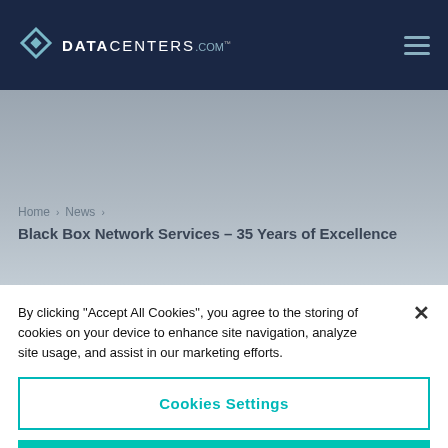DATA CENTERS.com
Home › News › Black Box Network Services – 35 Years of Excellence
By clicking "Accept All Cookies", you agree to the storing of cookies on your device to enhance site navigation, analyze site usage, and assist in our marketing efforts.
Cookies Settings
Reject All